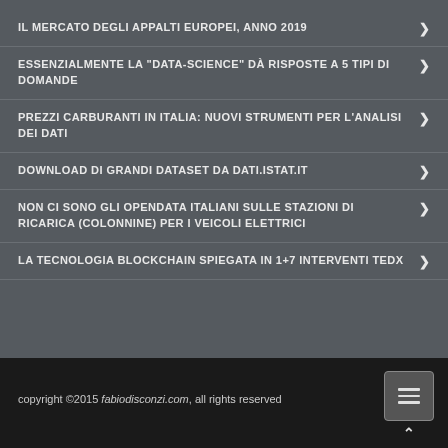IL MERCATO DEGLI APPALTI EUROPEI, ANNO 2019
ESSENZIALMENTE LA "DATA-SCIENCE" DÀ RISPOSTE A 5 TIPI DI DOMANDE
PREZZI CARBURANTI IN ITALIA: NUOVI STRUMENTI PER L'ANALISI DEI DATI
DOWNLOAD DI GRANDI DATASET DA DATI.ISTAT.IT
NON CI SONO GLI OPENDATA ITALIANI SULLE STAZIONI DI RICARICA (COLONNINE) PER I VEICOLI ELETTRICI
LA TECNOLOGIA BLOCKCHAIN SPIEGATA IN 1+7 INTERVENTI TEDX
copyright ©2015 fabiodisconzi.com, all rights reserved